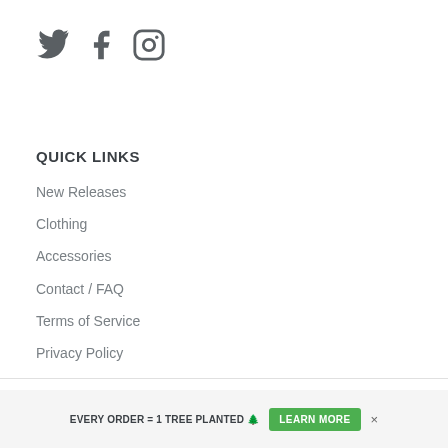[Figure (logo): Social media icons: Twitter bird, Facebook F square, Instagram camera circle]
QUICK LINKS
New Releases
Clothing
Accessories
Contact / FAQ
Terms of Service
Privacy Policy
EVERY ORDER = 1 TREE PLANTED 🌲  LEARN MORE  ×